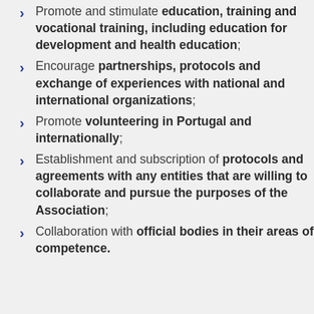Promote and stimulate education, training and vocational training, including education for development and health education;
Encourage partnerships, protocols and exchange of experiences with national and international organizations;
Promote volunteering in Portugal and internationally;
Establishment and subscription of protocols and agreements with any entities that are willing to collaborate and pursue the purposes of the Association;
Collaboration with official bodies in their areas of competence.